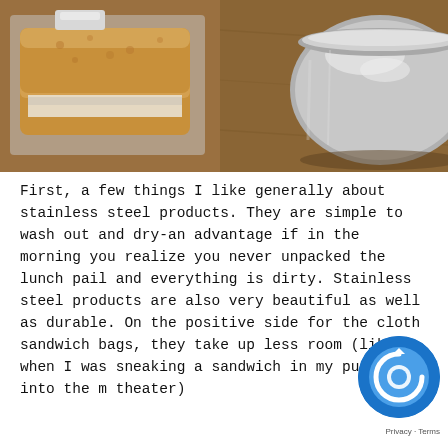[Figure (photo): Left half: sandwich on whole wheat bread on a stainless steel tray on a wooden surface. Right half: stainless steel round container with lid on a wooden surface.]
First, a few things I like generally about stainless steel products. They are simple to wash out and dry-an advantage if in the morning you realize you never unpacked the lunch pail and everything is dirty. Stainless steel products are also very beautiful as well as durable. On the positive side for the cloth sandwich bags, they take up less room (like when I was sneaking a sandwich in my purse into the m theater)